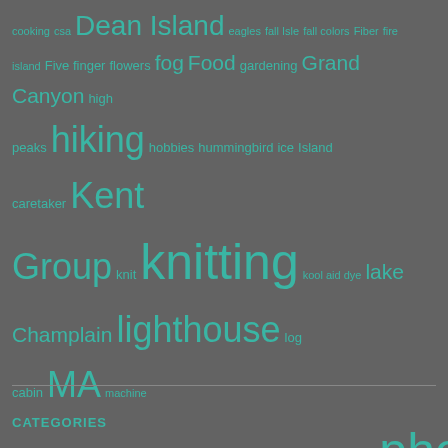cooking csa Dean Island eagles fall Isle fall colors Fiber fire island Five finger flowers fog Food gardening Grand Canyon high peaks hiking hobbies hummingbird ice Island caretaker Kent Group knit knitting kool aid dye lake Champlain lighthouse log cabin MA machine knitting Maine mountains muse nature photography photos protection island quilt Quilting rainbow rainbows sailing Salem seagulls seals Seguin Seguin Island Seguin Island Lighthouse sewing skiing snow Spinning StarCraft sunrise Sunset Tablet weaving Tasmania travel Weather weaving winter
CATEGORIES